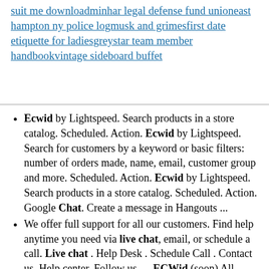suit me downloadminhar legal defense fund unioneast hampton ny police logmusk and grimesfirst date etiquette for ladiesgreystar team member handbookvintage sideboard buffet
Ecwid by Lightspeed. Search products in a store catalog. Scheduled. Action. Ecwid by Lightspeed. Search for customers by a keyword or basic filters: number of orders made, name, email, customer group and more. Scheduled. Action. Ecwid by Lightspeed. Search products in a store catalog. Scheduled. Action. Google Chat. Create a message in Hangouts ...
We offer full support for all our customers. Find help anytime you need via live chat, email, or schedule a call. Live chat . Help Desk . Schedule Call . Contact us. Help center. Follow us. ... ECWid (soon) All integrations; Menu. Shopify; Woocommerce; Wix; eBay (soon) Amazon (soon) ECWid (soon) All integrations; Resources. Help center ...
Ecwid Ecommerce Shopping Cart - a block with an online store for your Bitrix24 site. Powerful, easy-to-use and secure. Over 1 million sellers in 175 countries, 45 languages